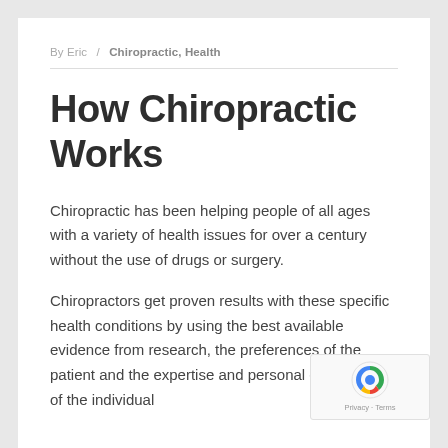By Eric / Chiropractic, Health
How Chiropractic Works
Chiropractic has been helping people of all ages with a variety of health issues for over a century without the use of drugs or surgery.
Chiropractors get proven results with these specific health conditions by using the best available evidence from research, the preferences of the patient and the expertise and personal experience of the individual